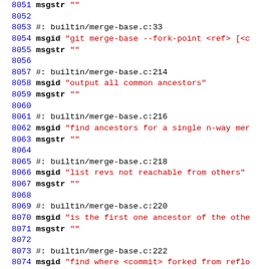Source code / PO file lines 8051-8080 showing msgid/msgstr entries for git merge-base and merge-file locale strings
8051 msgstr ""
8052
8053 #: builtin/merge-base.c:33
8054 msgid "git merge-base --fork-point <ref> [<c
8055 msgstr ""
8056
8057 #: builtin/merge-base.c:214
8058 msgid "output all common ancestors"
8059 msgstr ""
8060
8061 #: builtin/merge-base.c:216
8062 msgid "find ancestors for a single n-way mer
8063 msgstr ""
8064
8065 #: builtin/merge-base.c:218
8066 msgid "list revs not reachable from others"
8067 msgstr ""
8068
8069 #: builtin/merge-base.c:220
8070 msgid "is the first one ancestor of the othe
8071 msgstr ""
8072
8073 #: builtin/merge-base.c:222
8074 msgid "find where <commit> forked from reflo
8075 msgstr ""
8076
8077 #: builtin/merge-file.c:8
8078 msgid ""
8079 "git merge-file [<options>] [-L <name1> [-L
8080 "<orig-file> <file2>"